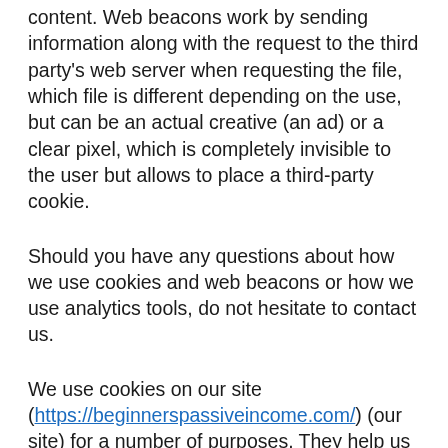content. Web beacons work by sending information along with the request to the third party's web server when requesting the file, which file is different depending on the use, but can be an actual creative (an ad) or a clear pixel, which is completely invisible to the user but allows to place a third-party cookie.
Should you have any questions about how we use cookies and web beacons or how we use analytics tools, do not hesitate to contact us.
We use cookies on our site (https://beginnerspassiveincome.com/) (our site) for a number of purposes. They help us to provide you with a better experience